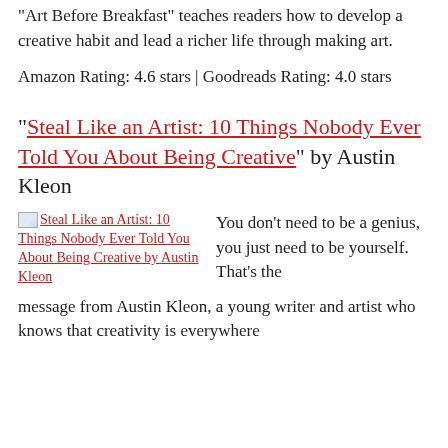'Art Before Breakfast' teaches readers how to develop a creative habit and lead a richer life through making art.
Amazon Rating: 4.6 stars | Goodreads Rating: 4.0 stars
“Steal Like an Artist: 10 Things Nobody Ever Told You About Being Creative” by Austin Kleon
[Figure (other): Book cover image for Steal Like an Artist: 10 Things Nobody Ever Told You About Being Creative by Austin Kleon]
You don’t need to be a genius, you just need to be yourself. That’s the message from Austin Kleon, a young writer and artist who knows that creativity is everywhere